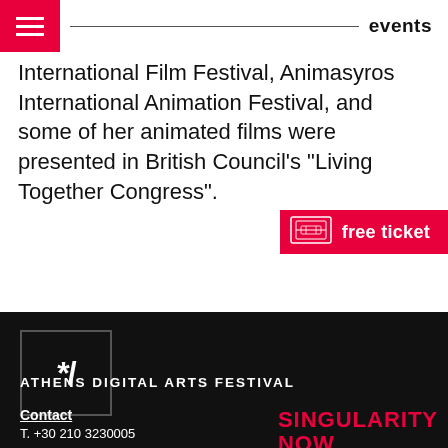events
International Film Festival, Animasyros International Animation Festival, and some of her animated films were presented in British Council's "Living Together Congress".
free ticket
[Figure (logo): Athens Digital Arts Festival logo: asterisk and slash on dark background]
ATHENS DIGITAL ARTS FESTIVAL
Contact
T. +30 210 3230005
[Figure (logo): Singularity Now logo in red text]